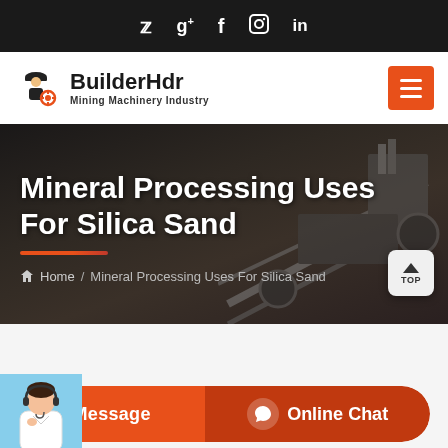Social icons: Twitter, Google+, Facebook, Instagram, LinkedIn
[Figure (logo): BuilderHdr Mining Machinery Industry logo with worker icon]
Mineral Processing Uses For Silica Sand
Home / Mineral Processing Uses For Silica Sand
[Figure (photo): Customer service agent photo with headset, Message and Online Chat buttons]